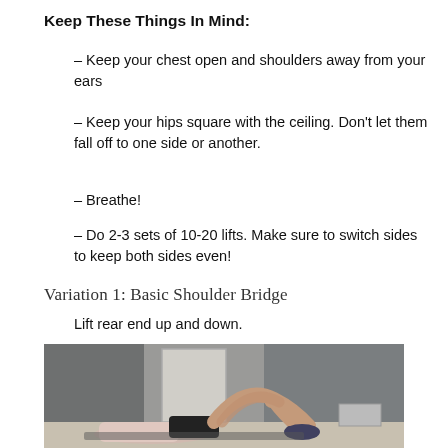Keep These Things In Mind:
– Keep your chest open and shoulders away from your ears
– Keep your hips square with the ceiling. Don't let them fall off to one side or another.
– Breathe!
– Do 2-3 sets of 10-20 lifts. Make sure to switch sides to keep both sides even!
Variation 1: Basic Shoulder Bridge
Lift rear end up and down.
[Figure (photo): Person performing a shoulder bridge exercise on the floor, with knees bent, feet flat on the ground, and hips raised. Person wearing dark shorts and sneakers.]